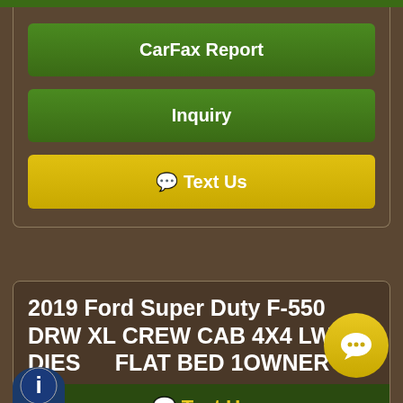CarFax Report
Inquiry
Text Us
2019 Ford Super Duty F-550 DRW XL CREW CAB 4X4 LWB DIESEL FLAT BED 1OWNER
Text Us